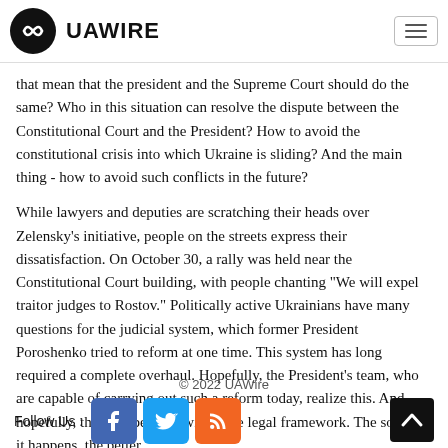UAWIRE
that mean that the president and the Supreme Court should do the same? Who in this situation can resolve the dispute between the Constitutional Court and the President? How to avoid the constitutional crisis into which Ukraine is sliding? And the main thing - how to avoid such conflicts in the future?
While lawyers and deputies are scratching their heads over Zelensky’s initiative, people on the streets express their dissatisfaction. On October 30, a rally was held near the Constitutional Court building, with people chanting "We will expel traitor judges to Rostov." Politically active Ukrainians have many questions for the judicial system, which former President Poroshenko tried to reform at one time. This system has long required a complete overhaul. Hopefully, the President’s team, who are capable of carrying out such a reform today, realize this. And hopefully, this will be done within the legal framework. The sooner it happens, the better
© 2022 UAWire
Follow Us :